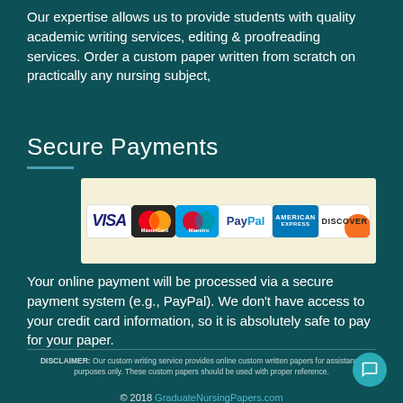Our expertise allows us to provide students with quality academic writing services, editing & proofreading services. Order a custom paper written from scratch on practically any nursing subject,
Secure Payments
[Figure (infographic): Payment methods logos row: VISA, MasterCard, Maestro, PayPal, American Express, Discover on a cream/beige background banner]
Your online payment will be processed via a secure payment system (e.g., PayPal). We don't have access to your credit card information, so it is absolutely safe to pay for your paper.
DISCLAIMER: Our custom writing service provides online custom written papers for assistance purposes only. These custom papers should be used with proper reference.
© 2018 GraduateNursingPapers.com